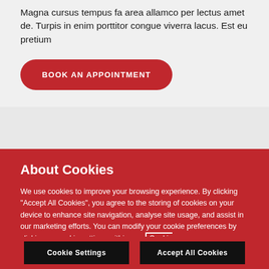Magna cursus tempus fa area allamco per lectus amet de. Turpis in enim porttitor congue viverra lacus. Est eu pretium
BOOK AN APPOINTMENT
Testimonials
About Cookies
We use cookies to improve your browsing experience. By clicking "Accept All Cookies", you agree to the storing of cookies on your device to enhance site navigation, analyse site usage, and assist in our marketing efforts. You can modify your cookie preferences by clicking on cookie settings within our Cookie Policy
Cookie Settings
Accept All Cookies